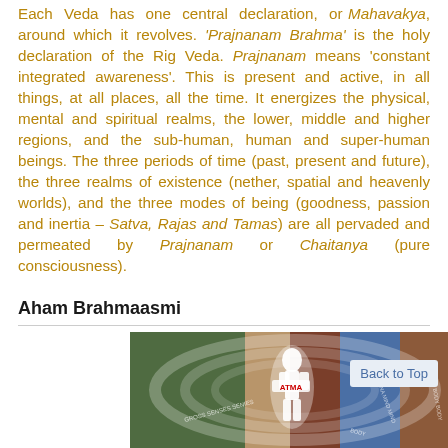Each Veda has one central declaration, or Mahavakya, around which it revolves. 'Prajnanam Brahma' is the holy declaration of the Rig Veda. Prajnanam means 'constant integrated awareness'. This is present and active, in all things, at all places, all the time. It energizes the physical, mental and spiritual realms, the lower, middle and higher regions, and the sub-human, human and super-human beings. The three periods of time (past, present and future), the three realms of existence (nether, spatial and heavenly worlds), and the three modes of being (goodness, passion and inertia – Satva, Rajas and Tamas) are all pervaded and permeated by Prajnanam or Chaitanya (pure consciousness).
Aham Brahmaasmi
[Figure (illustration): Colorful illustration showing a human figure labeled ATMA in the center, surrounded by layered arcs of different colors (green, tan, brown, blue, reddish-brown) representing different realms or bodies, with text labels along the arcs.]
Back to Top